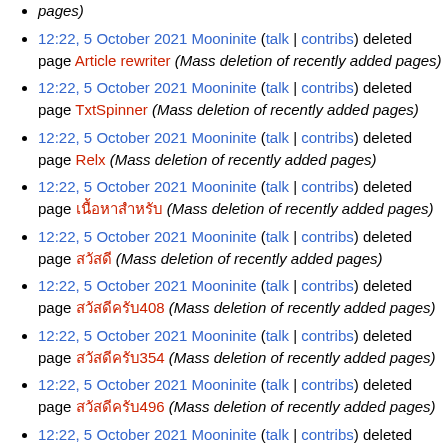pages)
12:22, 5 October 2021 Mooninite (talk | contribs) deleted page Article rewriter (Mass deletion of recently added pages)
12:22, 5 October 2021 Mooninite (talk | contribs) deleted page TxtSpinner (Mass deletion of recently added pages)
12:22, 5 October 2021 Mooninite (talk | contribs) deleted page Relx (Mass deletion of recently added pages)
12:22, 5 October 2021 Mooninite (talk | contribs) deleted page [non-latin text] (Mass deletion of recently added pages)
12:22, 5 October 2021 Mooninite (talk | contribs) deleted page [non-latin text] (Mass deletion of recently added pages)
12:22, 5 October 2021 Mooninite (talk | contribs) deleted page [non-latin text]408 (Mass deletion of recently added pages)
12:22, 5 October 2021 Mooninite (talk | contribs) deleted page [non-latin text]354 (Mass deletion of recently added pages)
12:22, 5 October 2021 Mooninite (talk | contribs) deleted page [non-latin text]496 (Mass deletion of recently added pages)
12:22, 5 October 2021 Mooninite (talk | contribs) deleted page [non-latin text]268 (Mass deletion of recently added pages)
12:22, 5 October 2021 Mooninite (talk | contribs) deleted